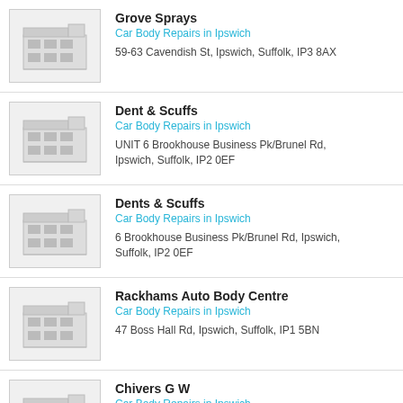Grove Sprays
Car Body Repairs in Ipswich
59-63 Cavendish St, Ipswich, Suffolk, IP3 8AX
Dent & Scuffs
Car Body Repairs in Ipswich
UNIT 6 Brookhouse Business Pk/Brunel Rd, Ipswich, Suffolk, IP2 0EF
Dents & Scuffs
Car Body Repairs in Ipswich
6 Brookhouse Business Pk/Brunel Rd, Ipswich, Suffolk, IP2 0EF
Rackhams Auto Body Centre
Car Body Repairs in Ipswich
47 Boss Hall Rd, Ipswich, Suffolk, IP1 5BN
Chivers G W
Car Body Repairs in Ipswich